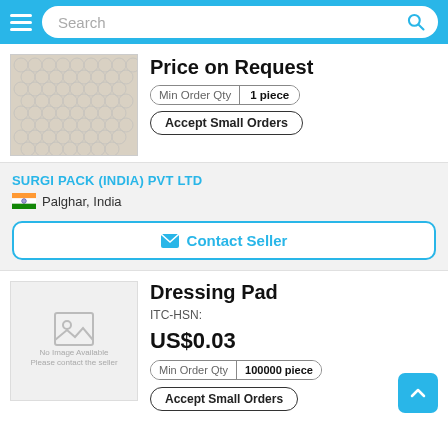[Figure (screenshot): Navigation bar with hamburger menu, search box, and search icon on blue background]
[Figure (photo): Bubble wrap roll product image]
Price on Request
Min Order Qty | 1 piece
Accept Small Orders
SURGI PACK (INDIA) PVT LTD
Palghar, India
Contact Seller
Dressing Pad
ITC-HSN:
US$0.03
Min Order Qty | 100000 piece
Accept Small Orders